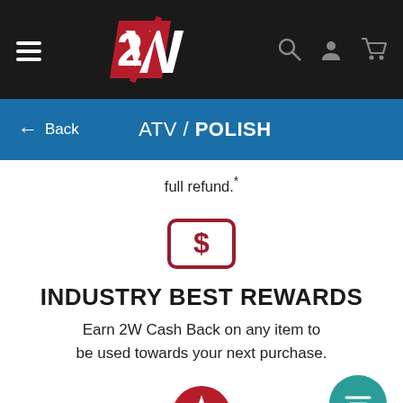[Figure (screenshot): 2W logo and navigation bar with hamburger menu, logo, search, account, and cart icons on dark background]
ATV / POLISH
full refund.*
[Figure (illustration): Dollar sign icon inside a rounded rectangle, dark red/crimson color]
INDUSTRY BEST REWARDS
Earn 2W Cash Back on any item to be used towards your next purchase.
[Figure (illustration): Star icon inside a crimson circle]
SERVICE DISCOUNT
[Figure (illustration): Teal circle with filter/lines icon]